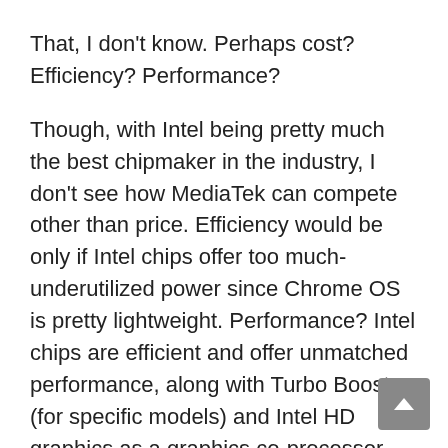That, I don't know. Perhaps cost? Efficiency? Performance?
Though, with Intel being pretty much the best chipmaker in the industry, I don't see how MediaTek can compete other than price. Efficiency would be only if Intel chips offer too much-underutilized power since Chrome OS is pretty lightweight. Performance? Intel chips are efficient and offer unmatched performance, along with Turbo Boost (for specific models) and Intel HD graphics as a graphics co-processor.
We'll find out how the MediaTek chip performs when it comes out. This can make or break their reputation since they're relatively unknown in the market, or any market for that matter. Or I'm just oblivious.